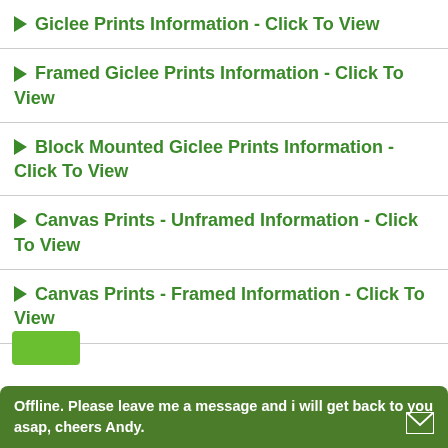Giclee Prints Information - Click To View
Framed Giclee Prints Information - Click To View
Block Mounted Giclee Prints Information - Click To View
Canvas Prints - Unframed Information - Click To View
Canvas Prints - Framed Information - Click To View
Offline. Please leave me a message and i will get back to you asap, cheers Andy.